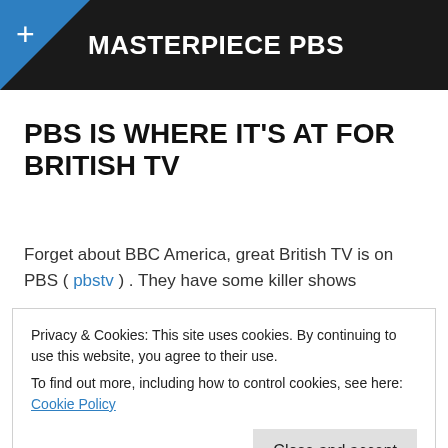MASTERPIECE PBS
PBS IS WHERE IT'S AT FOR BRITISH TV
Forget about BBC America, great British TV is on PBS ( pbstv ) . They have some killer shows
Privacy & Cookies: This site uses cookies. By continuing to use this website, you agree to their use.
To find out more, including how to control cookies, see here: Cookie Policy
Close and accept